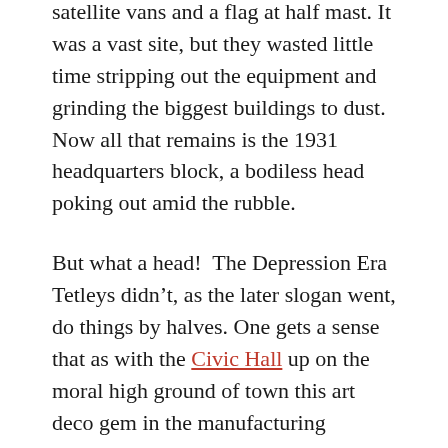satellite vans and a flag at half mast. It was a vast site, but they wasted little time stripping out the equipment and grinding the biggest buildings to dust. Now all that remains is the 1931 headquarters block, a bodiless head poking out amid the rubble.
But what a head!  The Depression Era Tetleys didn’t, as the later slogan went, do things by halves. One gets a sense that as with the Civic Hall up on the moral high ground of town this art deco gem in the manufacturing underbelly was an attempt to out-build the downturn.
It may not be obvious from the exterior though because this is the antithesis of South Leeds’ other post-industrial poster child. Temple Works is all facade. “Look at me,” it shouts to the passer-by on the grim